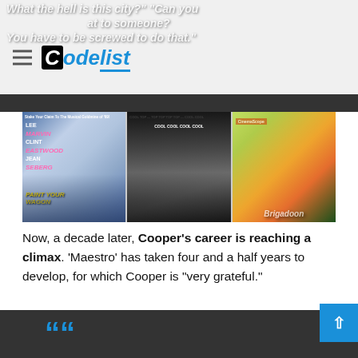CodeList
What the hell is this city? Can you at to someone? You have to be screwed to do that.
[Figure (photo): Three movie poster images side by side: Paint Your Wagon (Lee Marvin, Clint Eastwood, Jean Seberg), a black and white dance/romance film poster, and Brigadoon (CinemaScope).]
Now, a decade later, Cooper's career is reaching a climax. 'Maestro' has taken four and a half years to develop, for which Cooper is "very grateful."
[Figure (illustration): Large blue opening quotation marks on dark background, beginning of a pull quote.]